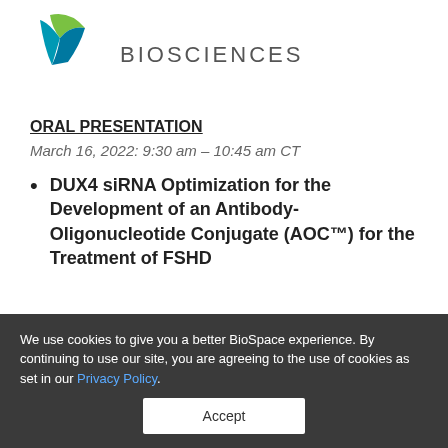[Figure (logo): Avidity Biosciences logo with teal and green checkmark/V shape icon and 'BIOSCIENCES' text in grey]
ORAL PRESENTATION
March 16, 2022: 9:30 am – 10:45 am CT
DUX4 siRNA Optimization for the Development of an Antibody-Oligonucleotide Conjugate (AOC™) for the Treatment of FSHD
We use cookies to give you a better BioSpace experience. By continuing to use our site, you are agreeing to the use of cookies as set in our Privacy Policy.
Accept